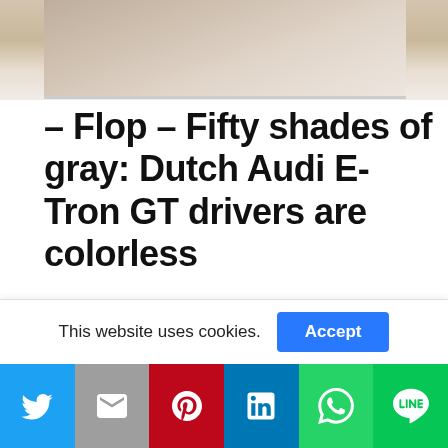[Figure (photo): Partial photo of what appears to be the interior or exterior of a car, mostly cropped, showing beige/tan tones at the top of the page]
– Flop – Fifty shades of gray: Dutch Audi E-Tron GT drivers are colorless
Lease drivers, we love you. But that also means that we must be able to tell you the unpolished truth. You are pale and colorless! Because look at this: twenty-four copies of the electric Audi E-Tron GT on Dutch soil, all in black or gray. And that